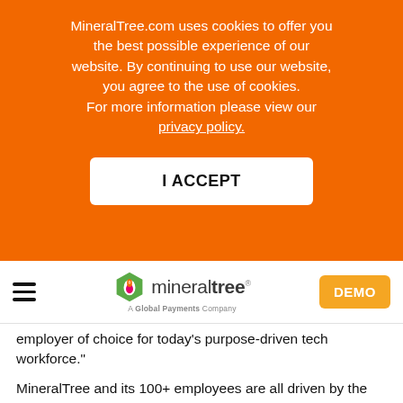MineralTree.com uses cookies to offer you the best possible experience of our website. By continuing to use our website, you agree to the use of cookies. For more information please view our privacy policy.
I ACCEPT
[Figure (logo): MineralTree logo with hamburger menu and DEMO button navigation bar]
employer of choice for today's purpose-driven tech workforce."
MineralTree and its 100+ employees are all driven by the company's deep culture and mission to transform the finance function through its award-winning SaaS-based AP and Payment Automation solution. The talented, diverse